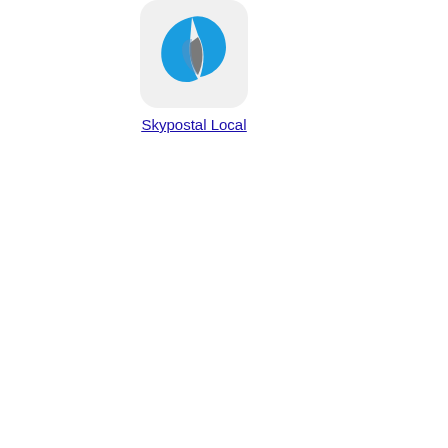[Figure (logo): Skypostal Local app icon — a stylized droplet/leaf shape in blue with a grey inner section, on a light grey rounded-rectangle background]
Skypostal Local